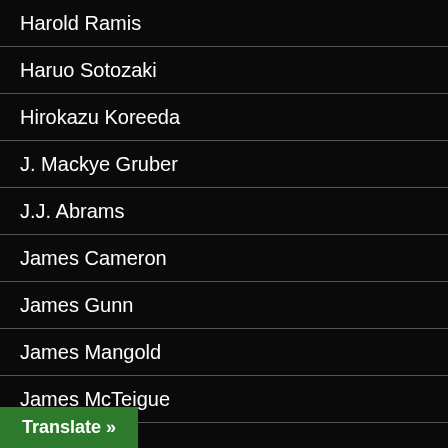Harold Ramis
Haruo Sotozaki
Hirokazu Koreeda
J. Mackye Gruber
J.J. Abrams
James Cameron
James Gunn
James Mangold
James McTeigue
James Wan
Jason Friedberg
Jaume Collet-Serra
Translate »